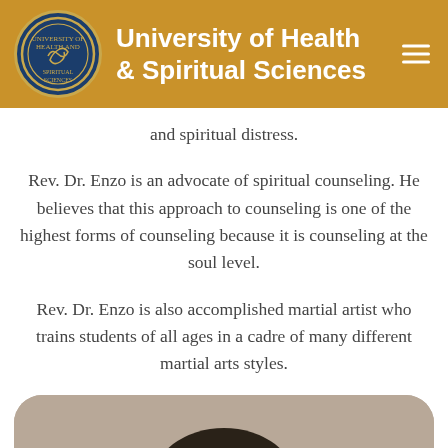University of Health & Spiritual Sciences
and spiritual distress.
Rev. Dr. Enzo is an advocate of spiritual counseling. He believes that this approach to counseling is one of the highest forms of counseling because it is counseling at the soul level.
Rev. Dr. Enzo is also accomplished martial artist who trains students of all ages in a cadre of many different martial arts styles.
[Figure (photo): Photo of Rev. Dr. Enzo, a man with dark curly hair, cropped showing the top of his head and forehead, against a beige/tan background with rounded corners on the container.]